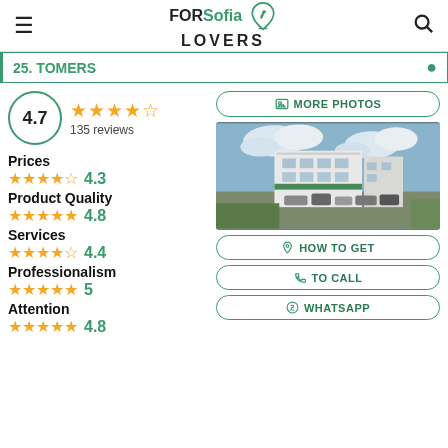FORSofia LOVERS
25. TOMERS
4.7 ★★★★☆ 135 reviews
Prices ★★★★☆ 4.3
Product Quality ★★★★★ 4.8
Services ★★★★☆ 4.4
Professionalism ★★★★★ 5
Attention ★★★★★ 4.8
[Figure (photo): Exterior photo of a building with parked cars and cloudy sky]
MORE PHOTOS
HOW TO GET
TO CALL
WHATSAPP